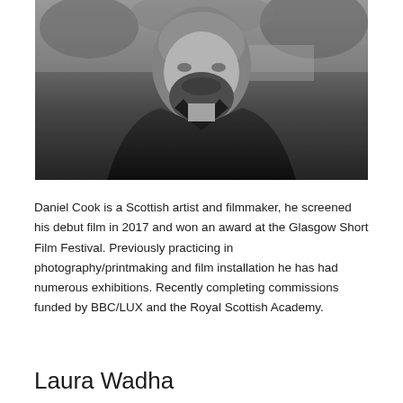[Figure (photo): Black and white portrait photograph of a bald man with a beard, wearing a dark jacket, photographed outdoors with trees and a building in the background.]
Daniel Cook is a Scottish artist and filmmaker, he screened his debut film in 2017 and won an award at the Glasgow Short Film Festival. Previously practicing in photography/printmaking and film installation he has had numerous exhibitions. Recently completing commissions funded by BBC/LUX and the Royal Scottish Academy.
Laura Wadha